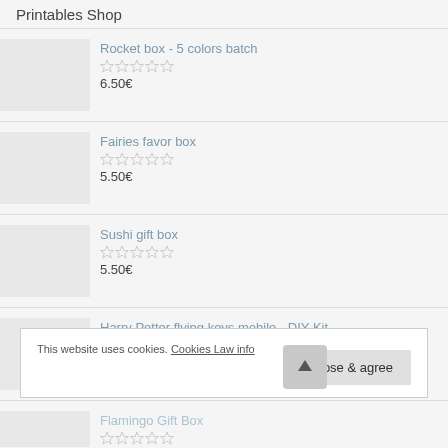Printables Shop
Rocket box - 5 colors batch
☆☆☆☆☆
6.50€
Fairies favor box
☆☆☆☆☆
5.50€
Sushi gift box
☆☆☆☆☆
5.50€
Harry Potter flying keys mobile - DIY Kit
☆☆☆☆☆
Flamingo Gift Box
☆☆☆☆☆
This website uses cookies. Cookies Law info
Close & agree